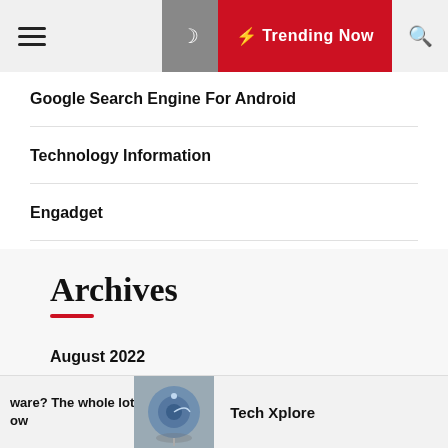Trending Now
Google Search Engine For Android
Technology Information
Engadget
Archives
August 2022
July 2022
ware? The whole lot ow  Tech Xplore